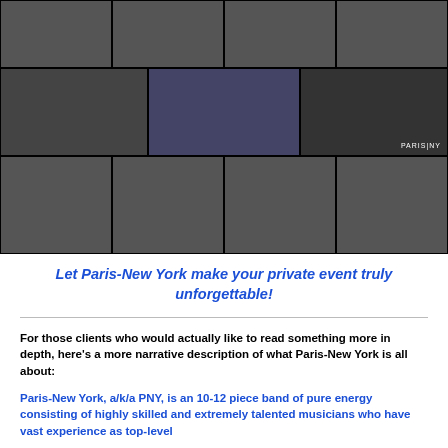[Figure (photo): Collage of three rows of event/band performance photos showing musicians, audience, singers, and guitarists at live events. Bottom right of second row has 'PARIS NY' watermark.]
Let Paris-New York make your private event truly unforgettable!
For those clients who would actually like to read something more in depth, here's a more narrative description of what Paris-New York is all about:
Paris-New York, a/k/a PNY, is an 10-12 piece band of pure energy consisting of highly skilled and extremely talented musicians who have vast experience as top-level